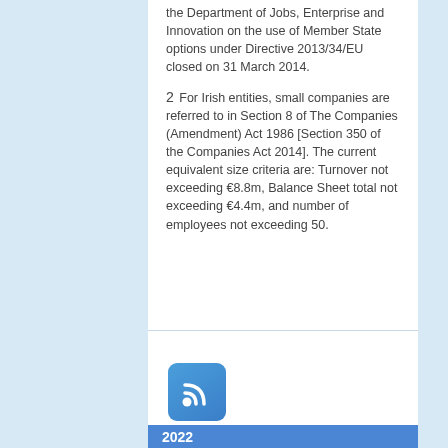the Department of Jobs, Enterprise and Innovation on the use of Member State options under Directive 2013/34/EU closed on 31 March 2014.
2 For Irish entities, small companies are referred to in Section 8 of The Companies (Amendment) Act 1986 [Section 350 of the Companies Act 2014]. The current equivalent size criteria are: Turnover not exceeding €8.8m, Balance Sheet total not exceeding €4.4m, and number of employees not exceeding 50.
[Figure (logo): RSS feed icon — blue rounded square with white RSS signal symbol]
2022